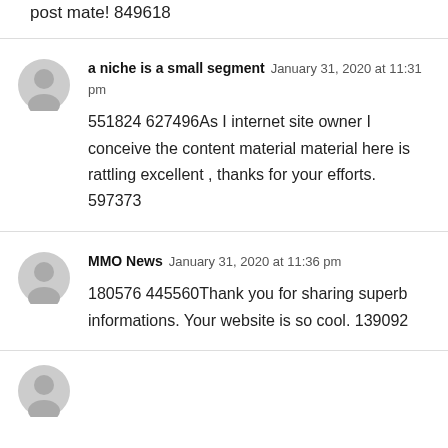post mate! 849618
a niche is a small segment  January 31, 2020 at 11:31 pm
551824 627496As I internet site owner I conceive the content material material here is rattling excellent , thanks for your efforts. 597373
MMO News  January 31, 2020 at 11:36 pm
180576 445560Thank you for sharing superb informations. Your website is so cool. 139092